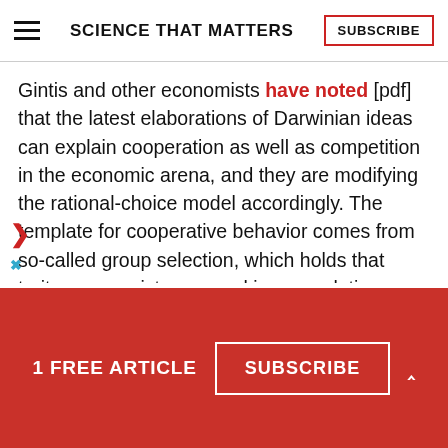SCIENCE THAT MATTERS | SUBSCRIBE
Gintis and other economists have noted [pdf] that the latest elaborations of Darwinian ideas can explain cooperation as well as competition in the economic arena, and they are modifying the rational-choice model accordingly. The template for cooperative behavior comes from so-called group selection, which holds that traits can persist or spread in a population even though they can be
1 FREE ARTICLE  SUBSCRIBE  ^